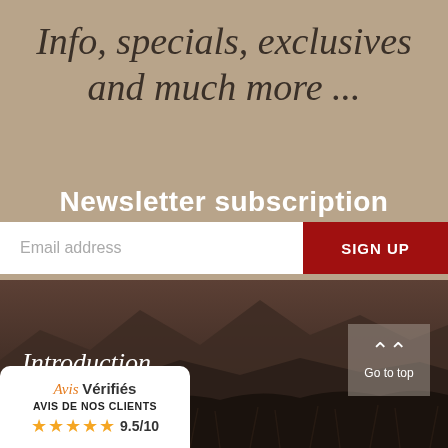Info, specials, exclusives and much more ...
Newsletter subscription
Email address
SIGN UP
[Figure (photo): Dark mountain landscape silhouette with brush/grass in foreground, dusky tones]
Introduction
[Figure (logo): Avis Vérifiés badge with orange logo text, AVIS DE NOS CLIENTS label, 5 gold stars, rating 9.5/10]
Go to top